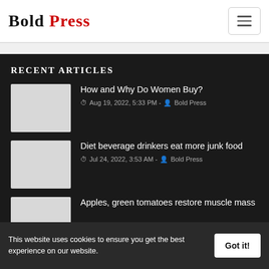Bold Press
RECENT ARTICLES
[Figure (photo): Thumbnail image placeholder for article]
How and Why Do Women Buy?
Aug 19, 2022, 5:33 PM - Bold Press
[Figure (photo): Thumbnail image placeholder for article]
Diet beverage drinkers eat more junk food
Jul 24, 2022, 3:53 AM - Bold Press
[Figure (photo): Thumbnail image placeholder for article]
Apples, green tomatoes restore muscle mass
This website uses cookies to ensure you get the best experience on our website.